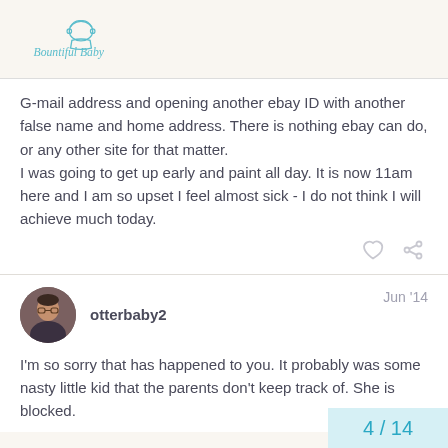[Figure (logo): Bountiful Baby logo with baby face icon and italic cursive text]
G-mail address and opening another ebay ID with another false name and home address. There is nothing ebay can do, or any other site for that matter.
I was going to get up early and paint all day. It is now 11am here and I am so upset I feel almost sick - I do not think I will achieve much today.
otterbaby2
Jun '14
I'm so sorry that has happened to you. It probably was some nasty little kid that the parents don't keep track of. She is blocked.
4 / 14